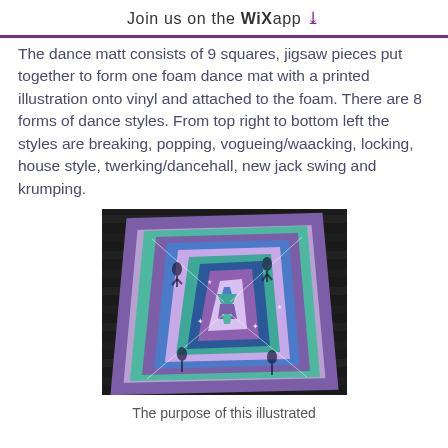Join us on the WiX app ⬇
The dance matt consists of 9 squares, jigsaw pieces put together to form one foam dance mat with a printed illustration onto vinyl and attached to the foam. There are 8 forms of dance styles. From top right to bottom left the styles are breaking, popping, vogueing/waacking, locking, house style, twerking/dancehall, new jack swing and krumping.
[Figure (photo): A colorful foam dance mat with illustrated dance figures in purple, blue, teal and lavender colors arranged in geometric patterns, photographed on a dark wooden deck from above at an angle.]
The purpose of this illustrated